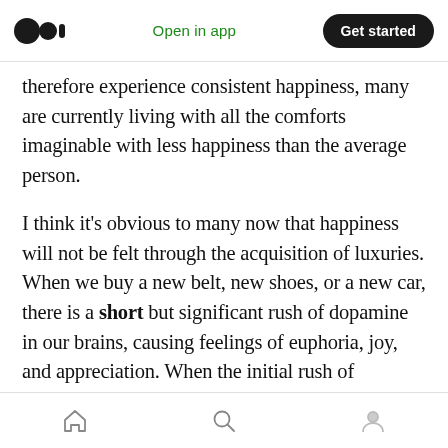Open in app | Get started
therefore experience consistent happiness, many are currently living with all the comforts imaginable with less happiness than the average person.
I think it's obvious to many now that happiness will not be felt through the acquisition of luxuries. When we buy a new belt, new shoes, or a new car, there is a short but significant rush of dopamine in our brains, causing feelings of euphoria, joy, and appreciation. When the initial rush of dopamine subsides after a purchase, we
Home | Search | Profile